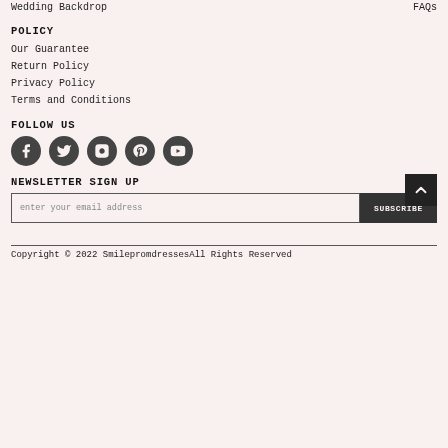Wedding Backdrop    FAQs
POLICY
Our Guarantee
Return Policy
Privacy Policy
Terms and Conditions
FOLLOW US
[Figure (illustration): Social media icons: Facebook, Twitter, Instagram, Pinterest, YouTube]
NEWSLETTER SIGN UP
enter your email address
SUBSCRIBE
Copyright © 2022 SmilepromdressesAll Rights Reserved